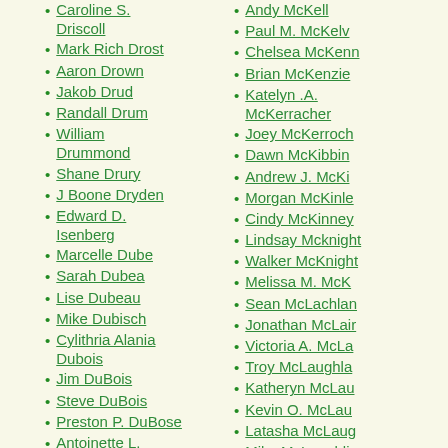Caroline S. Driscoll
Mark Rich Drost
Aaron Drown
Jakob Drud
Randall Drum
William Drummond
Shane Drury
J Boone Dryden
Edward D. Isenberg
Marcelle Dube
Sarah Dubea
Lise Dubeau
Mike Dubisch
Cylithria Alania Dubois
Jim DuBois
Steve DuBois
Preston P. DuBose
Antoinette L. Dubovsky-Modar
Dylan-Lee Ducharme
Rose Duclos
Genivieve Duda
Andy McKell
Paul M. McKelv
Chelsea McKenn
Brian McKenzie
Katelyn .A. McKerracher
Joey McKerroch
Dawn McKibbin
Andrew J. McKi
Morgan McKinle
Cindy McKinney
Lindsay Mcknight
Walker McKnight
Melissa M. McK
Sean McLachlan
Jonathan McLair
Victoria A. McLa
Troy McLaughla
Katheryn McLau
Kevin O. McLau
Latasha McLaug
Mike McLaughli
Robert McLaugh
Donald McLean
Russel D McLea
Adam Mclellan
Al McLeod